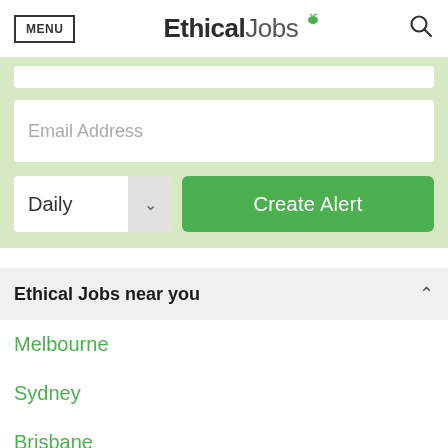MENU  EthicalJobs  [search icon]
[Figure (screenshot): Partial white input field (top of form, cropped)]
[Figure (screenshot): Email Address input field with placeholder text]
[Figure (screenshot): Daily dropdown selector and Create Alert green button]
Ethical Jobs near you
Melbourne
Sydney
Brisbane
Perth